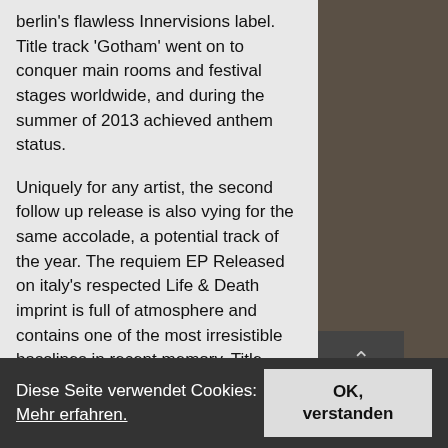berlin's flawless Innervisions label. Title track 'Gotham' went on to conquer main rooms and festival stages worldwide, and during the summer of 2013 achieved anthem status.
Uniquely for any artist, the second follow up release is also vying for the same accolade, a potential track of the year. The requiem EP Released on italy's respected Life & Death imprint is full of atmosphere and contains one of the most irresistible basslines in recent memory. Title track 'requiem' has been stirring dance floors worldwide for months and having hit the coveted beatport number one spot, looks set to dominate club soundtracks for many more monthsd to come.
Diese Seite verwendet Cookies: Mehr erfahren.
OK, verstanden